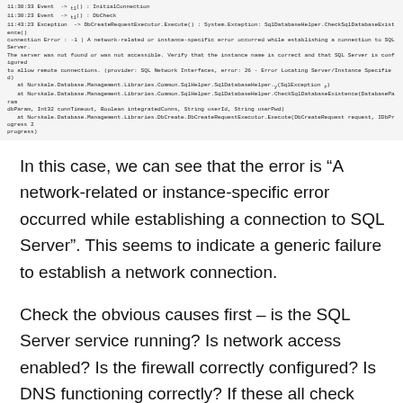[Figure (screenshot): Console/log output showing error messages: Event -> InitialConnection, Event -> DbCheck, Exception -> DbCreateRequestExecutor.Execute() with System.Exception: SqlDatabaseHelper.CheckSqlDatabaseExistence() connection error -1, network-related or instance-specific error while establishing connection to SQL Server, stack trace lines.]
In this case, we can see that the error is “A network-related or instance-specific error occurred while establishing a connection to SQL Server”. This seems to indicate a generic failure to establish a network connection.
Check the obvious causes first – is the SQL Server service running? Is network access enabled? Is the firewall correctly configured? Is DNS functioning correctly? If these all check out, it may be that remote connections aren’t enabled.